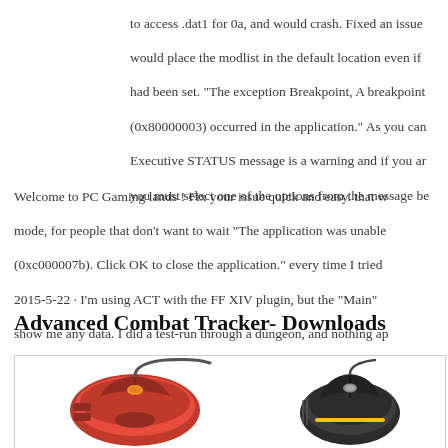to access .dat1 for 0a, and would crash. Fixed an issue would place the modlist in the default location even if had been set. "The exception Breakpoint, A breakpoint (0x80000003) occurred in the application." As you can Executive STATUS message is a warning and if you ar you must select one of the options from the message be
Welcome to PC Gaming lands ! Fix your issue quick and easy. that w mode, for people that don't want to wait "The application was unable (0xc000007b). Click OK to close the application." every time I tried 2015-5-22 · I'm using ACT with the FF XIV plugin, but the "Main" show me any data. I did a test-run through a dungeon, and nothing ap after. The name of the current zone shows up correctly, but no c....
Advanced Combat Tracker- Downloads
[Figure (photo): Two gaming mice side by side - a red gaming mouse on the left and a dark/black gaming mouse on the right]